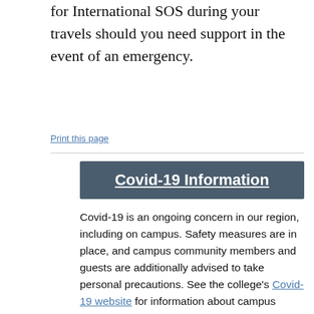for International SOS during your travels should you need support in the event of an emergency.
Print this page
Covid-19 Information
Covid-19 is an ongoing concern in our region, including on campus. Safety measures are in place, and campus community members and guests are additionally advised to take personal precautions. See the college's Covid-19 website for information about campus policies. For the latest research and recommendations from the CDC, visit cdc.gov/coronavirus.